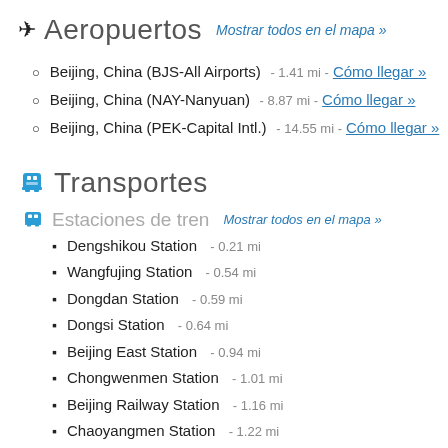✈ Aeropuertos   Mostrar todos en el mapa »
Beijing, China (BJS-All Airports) - 1.41 mi - Cómo llegar »
Beijing, China (NAY-Nanyuan) - 8.87 mi - Cómo llegar »
Beijing, China (PEK-Capital Intl.) - 14.55 mi - Cómo llegar »
🚌 Transportes
🚌 Estaciones de tren   Mostrar todos en el mapa »
Dengshikou Station - 0.21 mi
Wangfujing Station - 0.54 mi
Dongdan Station - 0.59 mi
Dongsi Station - 0.64 mi
Beijing East Station - 0.94 mi
Chongwenmen Station - 1.01 mi
Beijing Railway Station - 1.16 mi
Chaoyangmen Station - 1.22 mi